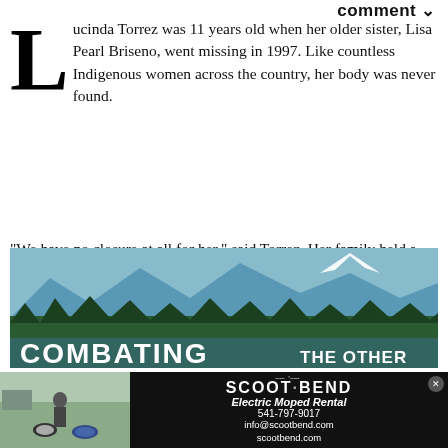comment ▾
Lucinda Torrez was 11 years old when her older sister, Lisa Pearl Briseno, went missing in 1997. Like countless Indigenous women across the country, her body was never found.
"We have no closure at all for her," said Torrez. Her family held a service for Briseno, despite not having her body, and the Confederated Tribes of Warm Springs, of which she was a member, now considers her deceased.
[Figure (photo): Mountain landscape with lake and trees, overlaid with text 'COMBATING THE OTHER']
[Figure (photo): Advertisement for Scoot Bend Electric Moped Rental showing scooters parked outside with contact info: 541-797-9017, info@scootbend.com, scootbend.com]